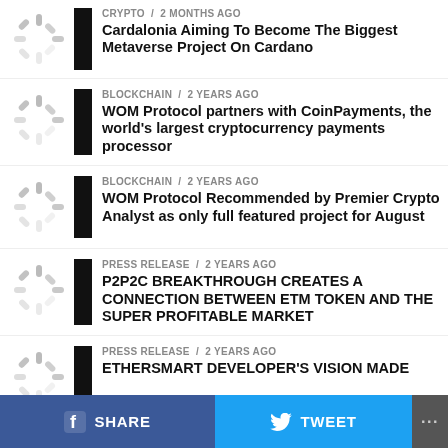CRYPTO / 2 months ago — Cardalonia Aiming To Become The Biggest Metaverse Project On Cardano
BLOCKCHAIN / 2 years ago — WOM Protocol partners with CoinPayments, the world's largest cryptocurrency payments processor
BLOCKCHAIN / 2 years ago — WOM Protocol Recommended by Premier Crypto Analyst as only full featured project for August
PRESS RELEASE / 2 years ago — P2P2C BREAKTHROUGH CREATES A CONNECTION BETWEEN ETM TOKEN AND THE SUPER PROFITABLE MARKET
PRESS RELEASE / 2 years ago — ETHERSMART DEVELOPER'S VISION MADE
SHARE   TWEET   ...